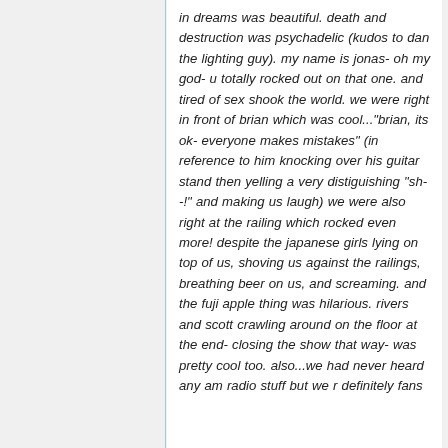in dreams was beautiful. death and destruction was psychadelic (kudos to dan the lighting guy). my name is jonas- oh my god- u totally rocked out on that one. and tired of sex shook the world. we were right in front of brian which was cool..."brian, its ok- everyone makes mistakes" (in reference to him knocking over his guitar stand then yelling a very distiguishing "sh--!" and making us laugh) we were also right at the railing which rocked even more! despite the japanese girls lying on top of us, shoving us against the railings, breathing beer on us, and screaming. and the fuji apple thing was hilarious. rivers and scott crawling around on the floor at the end- closing the show that way- was pretty cool too. also...we had never heard any am radio stuff but we r definitely fans